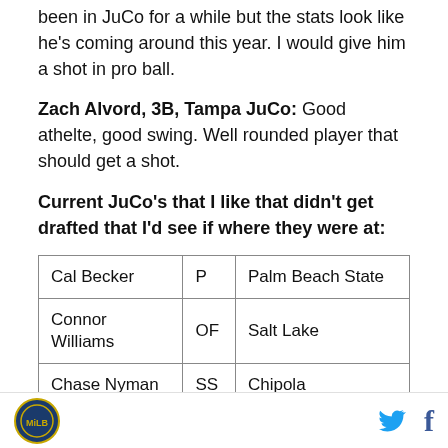been in JuCo for a while but the stats look like he's coming around this year. I would give him a shot in pro ball.
Zach Alvord, 3B, Tampa JuCo: Good athelte, good swing. Well rounded player that should get a shot.
Current JuCo's that I like that didn't get drafted that I'd see if where they were at:
| Cal Becker | P | Palm Beach State |
| Connor Williams | OF | Salt Lake |
| Chase Nyman | SS | Chipola |
| Kayden Porter | P | Southern Nevada |
Logo | Twitter | Facebook